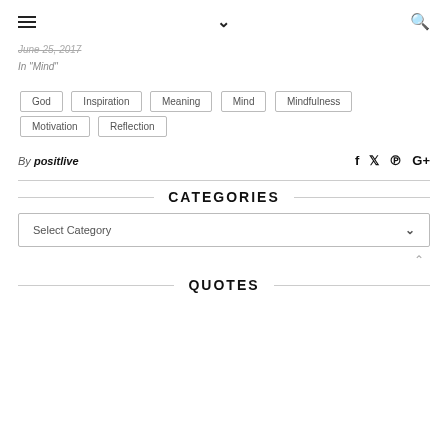hamburger menu | chevron | search
June 25, 2017
In "Mind"
God
Inspiration
Meaning
Mind
Mindfulness
Motivation
Reflection
By positlive
CATEGORIES
Select Category
QUOTES